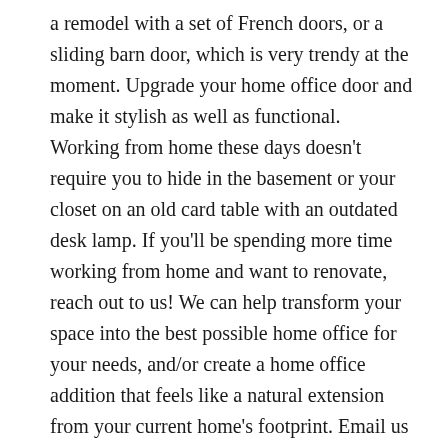a remodel with a set of French doors, or a sliding barn door, which is very trendy at the moment. Upgrade your home office door and make it stylish as well as functional.  Working from home these days doesn't require you to hide in the basement or your closet on an old card table with an outdated desk lamp. If you'll be spending more time working from home and want to renovate, reach out to us! We can help transform your space into the best possible home office for your needs, and/or create a home office addition that feels like a natural extension from your current home's footprint. Email us at Consultation@HammerByGB.com.